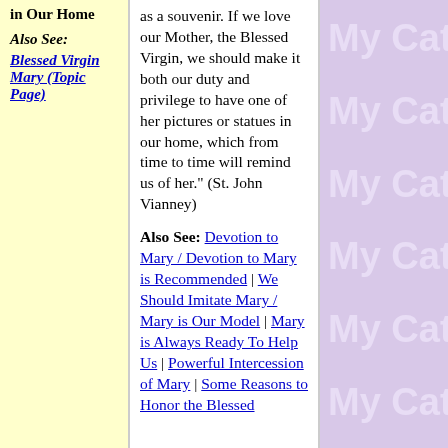in Our Home
Also See:
Blessed Virgin Mary (Topic Page)
as a souvenir. If we love our Mother, the Blessed Virgin, we should make it both our duty and privilege to have one of her pictures or statues in our home, which from time to time will remind us of her." (St. John Vianney)
Also See: Devotion to Mary / Devotion to Mary is Recommended | We Should Imitate Mary / Mary is Our Model | Mary is Always Ready To Help Us | Powerful Intercession of Mary | Some Reasons to Honor the Blessed
[Figure (other): Watermark text 'My Catho' repeated vertically on purple/lavender background]